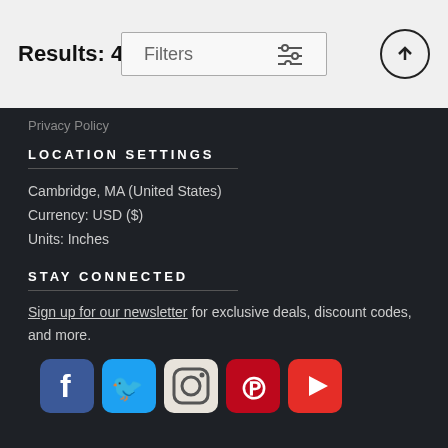Results: 432
Filters
Privacy Policy
LOCATION SETTINGS
Cambridge, MA (United States)
Currency: USD ($)
Units: Inches
STAY CONNECTED
Sign up for our newsletter for exclusive deals, discount codes, and more.
[Figure (logo): Social media icons: Facebook, Twitter, Instagram, Pinterest, YouTube]
Copyright © 2022 photostore.nba.com - All Rights Reserved - Website Powered by Fine Art America / Pixels